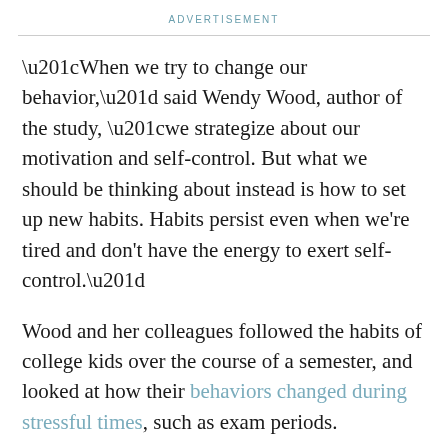ADVERTISEMENT
“When we try to change our behavior,” said Wendy Wood, author of the study, “we strategize about our motivation and self-control. But what we should be thinking about instead is how to set up new habits. Habits persist even when we're tired and don't have the energy to exert self-control.”
Wood and her colleagues followed the habits of college kids over the course of a semester, and looked at how their behaviors changed during stressful times, such as exam periods.
Students who routinely ate doughnuts or other pastries for breakfast did so even more frequently